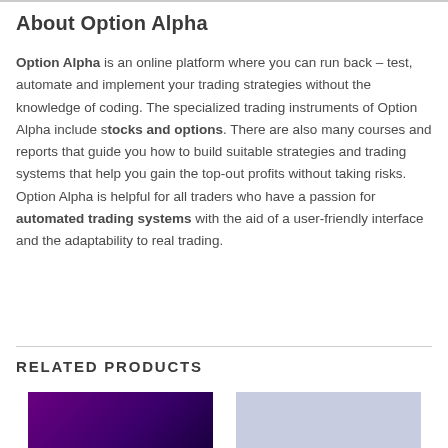About Option Alpha
Option Alpha is an online platform where you can run back – test, automate and implement your trading strategies without the knowledge of coding. The specialized trading instruments of Option Alpha include stocks and options. There are also many courses and reports that guide you how to build suitable strategies and trading systems that help you gain the top-out profits without taking risks. Option Alpha is helpful for all traders who have a passion for automated trading systems with the aid of a user-friendly interface and the adaptability to real trading.
RELATED PRODUCTS
[Figure (photo): Product thumbnail with dark purple/violet gradient background]
[Figure (photo): Product thumbnail with light blue/lavender background]